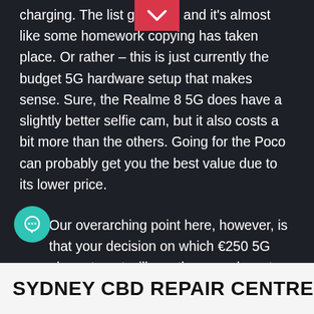charging. The list goes on, and it's almost like some homework copying has taken place. Or rather – this is just currently the budget 5G hardware setup that makes sense. Sure, the Realme 8 5G does have a slightly better selfie cam, but it also costs a bit more than the others. Going for the Poco can probably get you the best value due to its lower price.
Our overarching point here, however, is that your decision on which €250 5G phone to get will mostly come down to subtle differences in specs and the software experience and features. Samsung might just have a leg up there for many, thanks to One UI 3.1.
SYDNEY CBD REPAIR CENTRE  MENU ≡